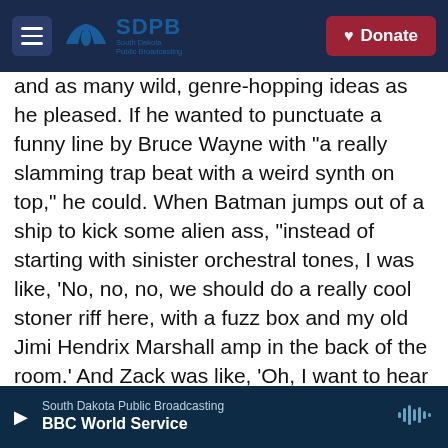SDPB South Dakota Public Broadcasting — Donate
and as many wild, genre-hopping ideas as he pleased. If he wanted to punctuate a funny line by Bruce Wayne with "a really slamming trap beat with a weird synth on top," he could. When Batman jumps out of a ship to kick some alien ass, "instead of starting with sinister orchestral tones, I was like, 'No, no, no, we should do a really cool stoner riff here, with a fuzz box and my old Jimi Hendrix Marshall amp in the back of the room.' And Zack was like, 'Oh, I want to hear that!'" He took a kitchen sink approach, pumping his past lives as an electronic artist, remixer, producer of heavy metal bands, drummer and Hollywood composer into the
South Dakota Public Broadcasting — BBC World Service